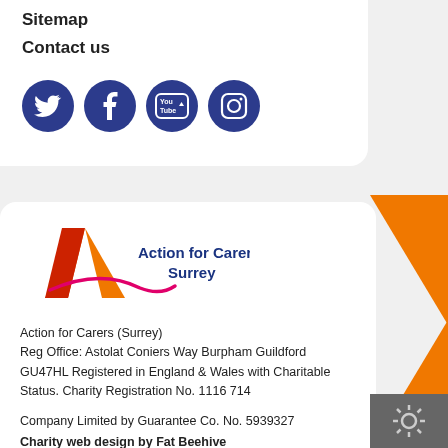Sitemap
Contact us
[Figure (other): Social media icons: Twitter, Facebook, YouTube, Instagram — white icons on dark blue circular backgrounds]
[Figure (logo): Action for Carers Surrey logo — stylised orange/red A shape with pink swoosh, blue text reading Action for Carers Surrey]
Action for Carers (Surrey)
Reg Office: Astolat Coniers Way Burpham Guildford GU47HL Registered in England & Wales with Charitable Status. Charity Registration No. 1116714

Company Limited by Guarantee Co. No. 5939327
Charity web design by Fat Beehive